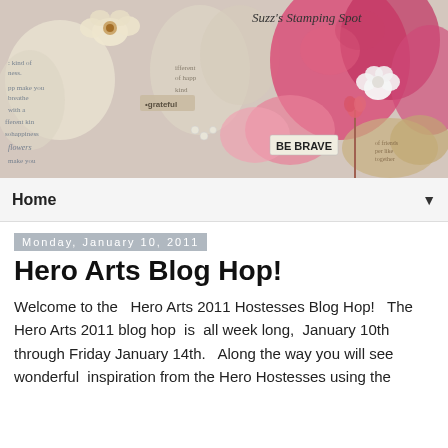[Figure (photo): Decorative blog header image showing scrapbook-style paper butterflies and flowers with text stamping in pink, cream, and gray tones. Text visible includes 'BE BRAVE', 'grateful', and various inspirational words. Blog name 'Suzz's Stamping Spot' in top right corner.]
Home ▼
Monday, January 10, 2011
Hero Arts Blog Hop!
Welcome to the  Hero Arts 2011 Hostesses Blog Hop!  The Hero Arts 2011 blog hop  is  all week long,  January 10th through Friday January 14th.   Along the way you will see wonderful  inspiration from the Hero Hostesses using the